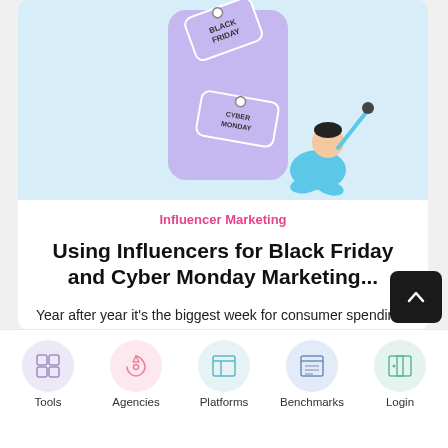[Figure (illustration): Black Friday and Cyber Monday themed illustration showing price tags and a person taking a selfie on a light blue background]
Influencer Marketing
Using Influencers for Black Friday and Cyber Monday Marketing...
Year after year it's the biggest week for consumer spending: Cyber Week!  With people...
[Figure (illustration): Three icon buttons: star (bookmark), heart (like), and thumbs up]
[Figure (illustration): Bottom navigation bar with icons: Tools, Agencies, Platforms, Benchmarks, Login]